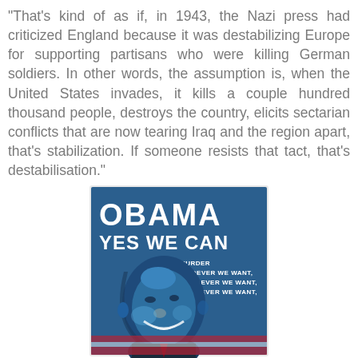“That’s kind of as if, in 1943, the Nazi press had criticized England because it was destabilizing Europe for supporting partisans who were killing German soldiers. In other words, the assumption is, when the United States invades, it kills a couple hundred thousand people, destroys the country, elicits sectarian conflicts that are now tearing Iraq and the region apart, that’s stabilization. If someone resists that tact, that’s destabilisation.”
[Figure (illustration): A parody of the Obama 'Hope' campaign poster in blue tones, with text reading 'OBAMA YES WE CAN' at the top and below it 'MURDER WHOEVER WE WANT, WHEREVER WE WANT, WHENEVER WE WANT,' with a stylized portrait of Obama smiling.]